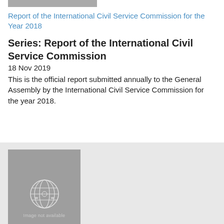Report of the International Civil Service Commission for the Year 2018
Series: Report of the International Civil Service Commission
18 Nov 2019
This is the official report submitted annually to the General Assembly by the International Civil Service Commission for the year 2018.
[Figure (illustration): Book cover placeholder with UN logo and 'Image not available' text on grey background]
Report of the Special Committee on the